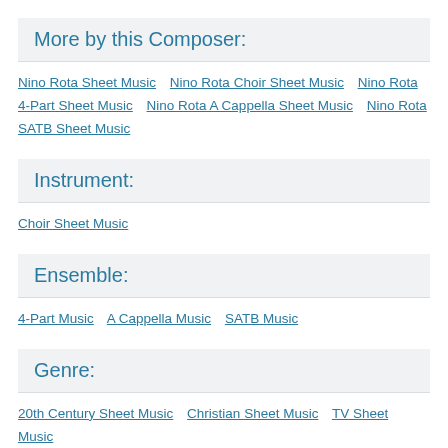More by this Composer:
Nino Rota Sheet Music   Nino Rota Choir Sheet Music   Nino Rota 4-Part Sheet Music   Nino Rota A Cappella Sheet Music   Nino Rota SATB Sheet Music
Instrument:
Choir Sheet Music
Ensemble:
4-Part Music   A Cappella Music   SATB Music
Genre:
20th Century Sheet Music   Christian Sheet Music   TV Sheet Music
Format: